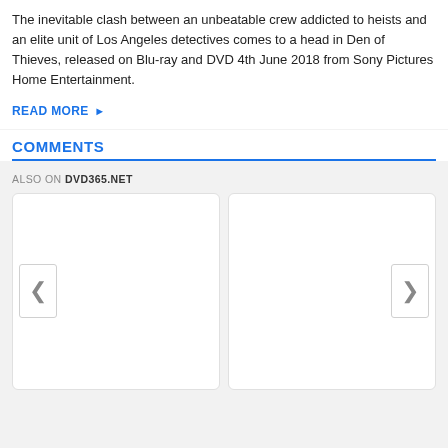The inevitable clash between an unbeatable crew addicted to heists and an elite unit of Los Angeles detectives comes to a head in Den of Thieves, released on Blu-ray and DVD 4th June 2018 from Sony Pictures Home Entertainment.
READ MORE ▶
COMMENTS
ALSO ON DVD365.NET
[Figure (other): Two card placeholders with left and right navigation arrows, part of a 'Also On DVD365.NET' carousel widget]